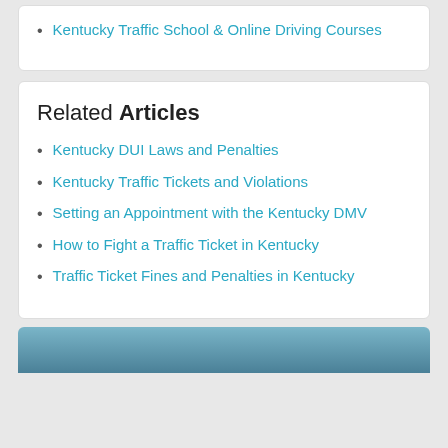Kentucky Traffic School & Online Driving Courses
Related Articles
Kentucky DUI Laws and Penalties
Kentucky Traffic Tickets and Violations
Setting an Appointment with the Kentucky DMV
How to Fight a Traffic Ticket in Kentucky
Traffic Ticket Fines and Penalties in Kentucky
[Figure (photo): Dark blue/grey gradient bar at bottom of page, partial image visible]